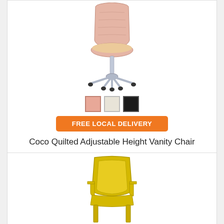[Figure (photo): Pink quilted vanity chair with chrome adjustable base and rolling casters]
[Figure (other): Three color swatches: pink, cream, and black]
FREE LOCAL DELIVERY
Coco Quilted Adjustable Height Vanity Chair
Original Price $248.84
$229.00
(save 8%)
[Figure (photo): Yellow/gold colored chair with armrests, partially visible at bottom of page]